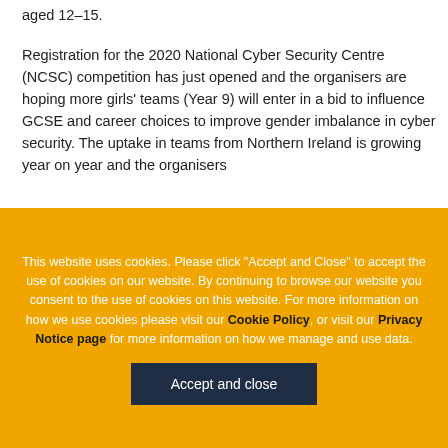aged 12–15.
Registration for the 2020 National Cyber Security Centre (NCSC) competition has just opened and the organisers are hoping more girls' teams (Year 9) will enter in a bid to influence GCSE and career choices to improve gender imbalance in cyber security. The uptake in teams from Northern Ireland is growing year on year and the organisers
This website uses cookies. Please click "Accept and Close" to accept the use of cookies on our website. By continuing to browse our website you consent to the use of cookies on this website. For more information on how we use cookies please visit our Cookie Policy, or visit our Privacy Notice page for more information on how we manage and use data.
Accept and close